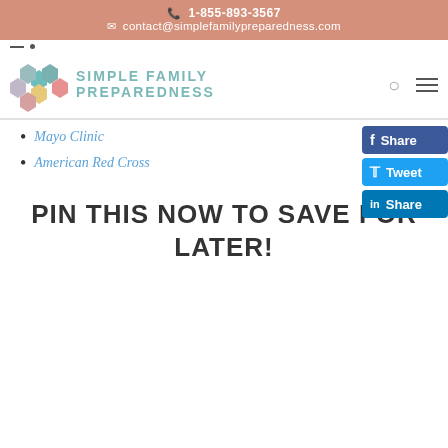📞 1-855-893-3567
✉ contact@simplefamilypreparedness.com
[Figure (logo): Simple Family Preparedness logo with hexagon honeycomb design in teal, gray, yellow and pink colors, with text 'SIMPLE FAMILY PREPAREDNESS' in teal]
Mayo Clinic
American Red Cross
[Figure (infographic): Social share buttons: Facebook Share (blue), Twitter Tweet (light blue), LinkedIn Share (dark blue)]
PIN THIS NOW TO SAVE FOR LATER!